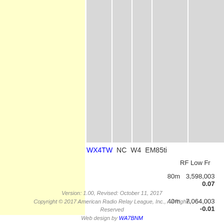[Figure (other): Yellow background block on left side of page, decorative column background]
[Figure (other): Multiple gray vertical column blocks representing table columns]
WX4TW  NC  W4  EM85ti
RF Low Fr
80m  3,598,003
0.07
40m  7,064,003
-0.01
Version: 1.00, Revised: October 11, 2017
Copyright © 2017 American Radio Relay League, Inc., All Rights Reserved
Web design by WA7BNM